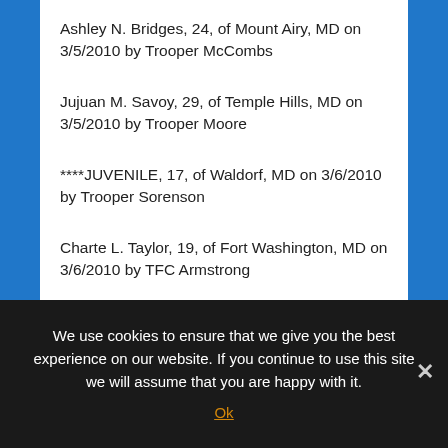Ashley N. Bridges, 24, of Mount Airy, MD on 3/5/2010 by Trooper McCombs
Jujuan M. Savoy, 29, of Temple Hills, MD on 3/5/2010 by Trooper Moore
****JUVENILE, 17, of Waldorf, MD on 3/6/2010 by Trooper Sorenson
Charte L. Taylor, 19, of Fort Washington, MD on 3/6/2010 by TFC Armstrong
Keith A. Willis, 26, of Cheltenham, MD on 3/6/2010 by Trooper Moore
We use cookies to ensure that we give you the best experience on our website. If you continue to use this site we will assume that you are happy with it. Ok